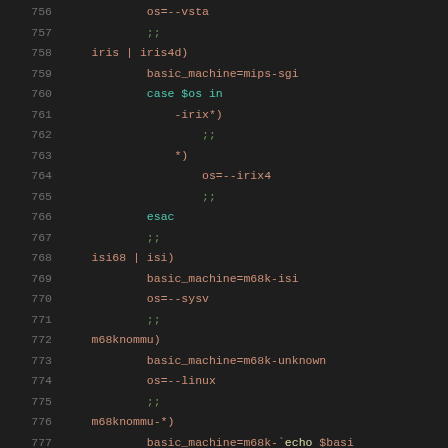[Figure (screenshot): Source code listing lines 756-777, shell script with case statement patterns for OS/machine detection, dark theme code editor]